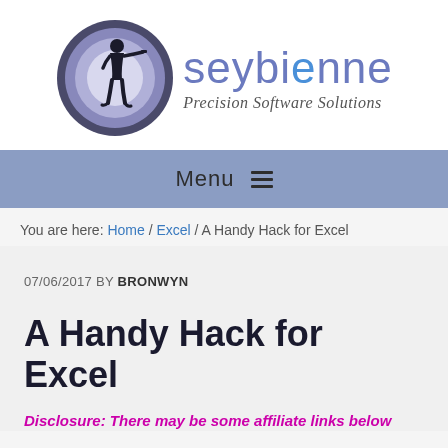[Figure (logo): Seybienne logo with silhouette figure in circular target design and text 'seybienne Precision Software Solutions']
Menu
You are here: Home / Excel / A Handy Hack for Excel
07/06/2017 BY BRONWYN
A Handy Hack for Excel
Disclosure: There may be some affiliate links below